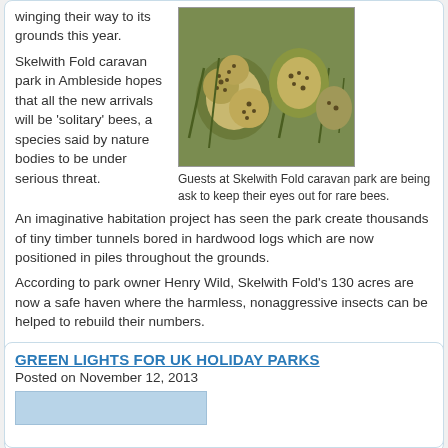winging their way to its grounds this year.
Skelwith Fold caravan park in Ambleside hopes that all the new arrivals will be 'solitary' bees, a species said by nature bodies to be under serious threat.
[Figure (photo): Close-up photo of seed pods or bee habitats on grass]
Guests at Skelwith Fold caravan park are being ask to keep their eyes out for rare bees.
An imaginative habitation project has seen the park create thousands of tiny timber tunnels bored in hardwood logs which are now positioned in piles throughout the grounds.
According to park owner Henry Wild, Skelwith Fold's 130 acres are now a safe haven where the harmless, nonaggressive insects can be helped to rebuild their numbers.
Skelwith Fold provides pitches for guests with touring caravans and motor homes plus caravan holiday homes for private owners.
Posted in News Tagged Ambleside, Bees, caravan holiday homes, Caravan Park, Conservation, Motor Homes, Skelwith Fold, Touring Caravans
GREEN LIGHTS FOR UK HOLIDAY PARKS
Posted on November 12, 2013